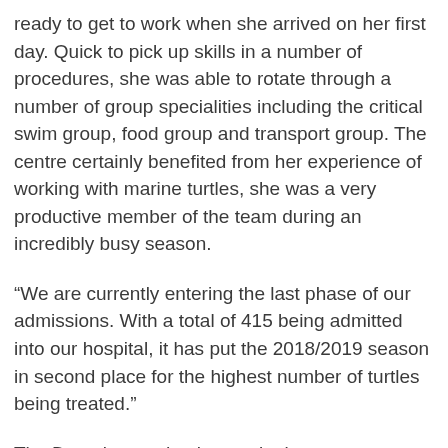ready to get to work when she arrived on her first day. Quick to pick up skills in a number of procedures, she was able to rotate through a number of group specialities including the critical swim group, food group and transport group. The centre certainly benefited from her experience of working with marine turtles, she was a very productive member of the team during an incredibly busy season.
“We are currently entering the last phase of our admissions. With a total of 415 being admitted into our hospital, it has put the 2018/2019 season in second place for the highest number of turtles being treated.”
The Deep is proud to be continuing to support and assist our colleagues ‘over the pond’ in the rescue and rehabilitation of sea turtles. This vital work is proving crucial to safeguarding the future of one of the world’s most iconic ocean dwelling creatures.